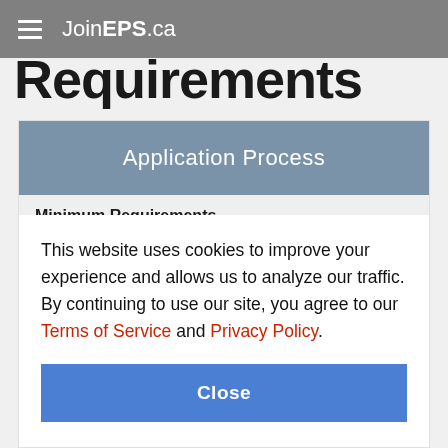JoinEPS.ca
Requirements
Application Process
Minimum Requirements
New Applicants
This website uses cookies to improve your experience and allows us to analyze our traffic. By continuing to use our site, you agree to our Terms of Service and Privacy Policy.
Close